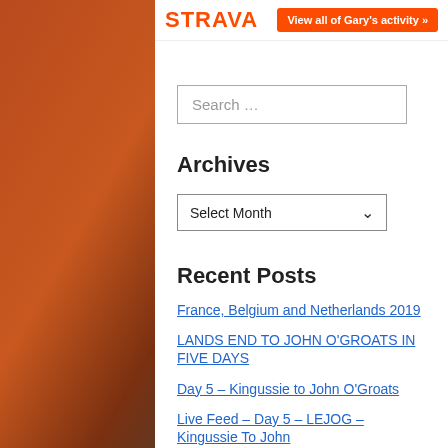[Figure (logo): Strava logo in orange with a button 'View all of Gary's activity »']
Search …
Archives
Select Month
Recent Posts
France, Belgium and Netherlands 2019
LANDS END TO JOHN O'GROATS IN FIVE DAYS
Day 5 – Kingussie to John O'Groats
Live Feed – Day 5 – LEJOG – Kingussie To John O'G...